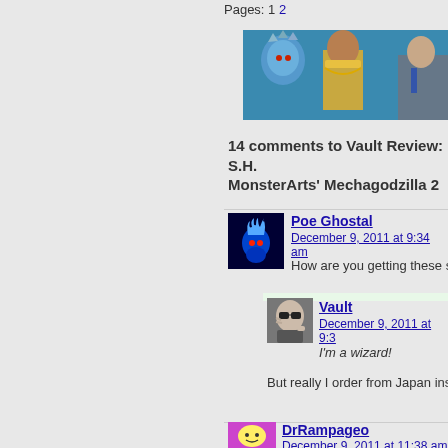Pages: 1 2
[Figure (photo): Banner image showing fantasy/sci-fi characters including a blue creature, an Egyptian-styled figure, and a man in a suit]
14 comments to Vault Review: S.H. MonsterArts' Mechagodzilla 2
Poe Ghostal
December 9, 2011 at 9:34 am
How are you getting these so c
Vault
December 9, 2011 at 9:3
I'm a wizard!
But really I order from Japan instead
DrRampageo
December 9, 2011 at 11:38 am